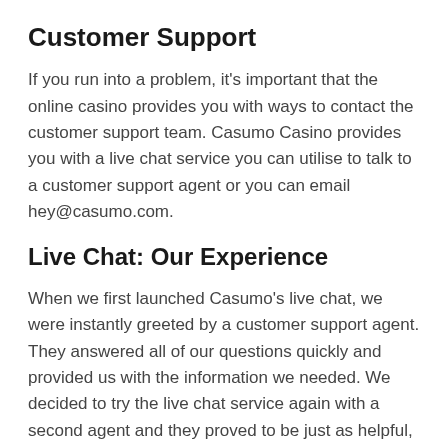Customer Support
If you run into a problem, it's important that the online casino provides you with ways to contact the customer support team. Casumo Casino provides you with a live chat service you can utilise to talk to a customer support agent or you can email hey@casumo.com.
Live Chat: Our Experience
When we first launched Casumo's live chat, we were instantly greeted by a customer support agent. They answered all of our questions quickly and provided us with the information we needed. We decided to try the live chat service again with a second agent and they proved to be just as helpful, friendly and cheery as the first.
After witnessing it ourselves, we believe that Casumo's live chat service is one of the best in the online gambling